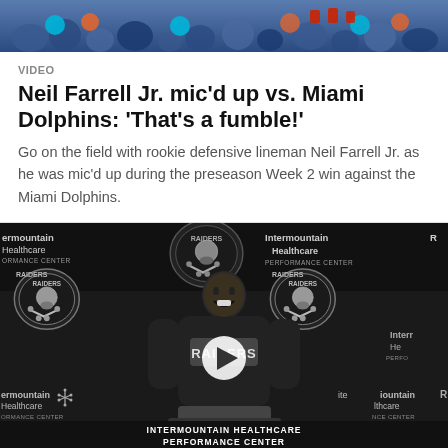[Figure (photo): Top photo showing football players/crowd in team colors, partial view at top of page]
VIDEO
Neil Farrell Jr. mic'd up vs. Miami Dolphins: 'That's a fumble!'
Go on the field with rookie defensive lineman Neil Farrell Jr. as he was mic'd up during the preseason Week 2 win against the Miami Dolphins.
[Figure (screenshot): Video thumbnail showing Neil Farrell Jr. standing at podium in front of Raiders/Intermountain Healthcare Performance Center press conference backdrop wearing a Raiders shirt, with a play button overlay. Bottom banner reads: INTERMOUNTAIN HEALTHCARE PERFORMANCE CENTER]